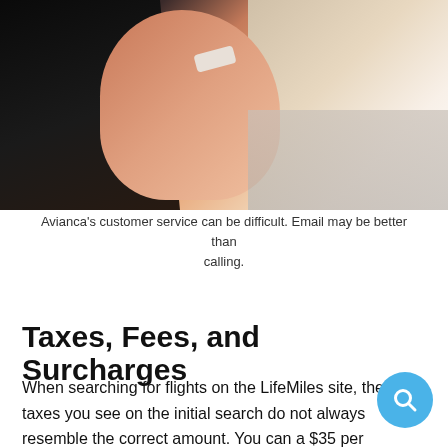[Figure (photo): A woman with dark hair and a Bluetooth headset, facing sideways, with a laptop keyboard visible in the background on the right. Warm, slightly blurred background.]
Avianca's customer service can be difficult. Email may be better than calling.
Taxes, Fees, and Surcharges
When searching for flights on the LifeMiles site, the taxes you see on the initial search do not always resemble the correct amount. You can a $35 per redemption fee added once you get to the final booking page. We've also noticed that the UK duty taxes may